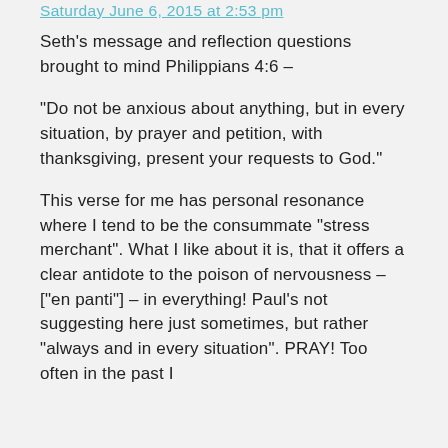Saturday June 6, 2015 at 2:53 pm
Seth's message and reflection questions brought to mind Philippians 4:6 –
“Do not be anxious about anything, but in every situation, by prayer and petition, with thanksgiving, present your requests to God.”
This verse for me has personal resonance where I tend to be the consummate “stress merchant”. What I like about it is, that it offers a clear antidote to the poison of nervousness – [“en panti”] – in everything! Paul’s not suggesting here just sometimes, but rather “always and in every situation”. PRAY! Too often in the past I